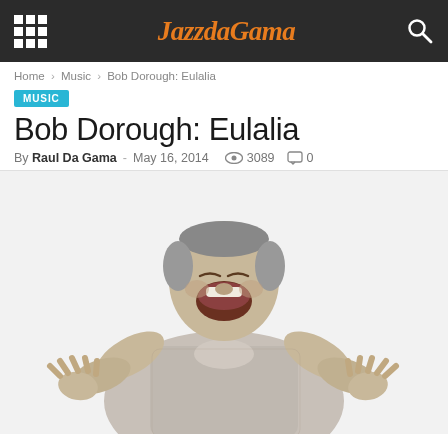JazzdaGama
Home › Music › Bob Dorough: Eulalia
MUSIC
Bob Dorough: Eulalia
By Raul Da Gama - May 16, 2014   3089   0
[Figure (photo): Black and white photo of Bob Dorough laughing expressively with both hands raised, wearing a checked shirt, against a white background]